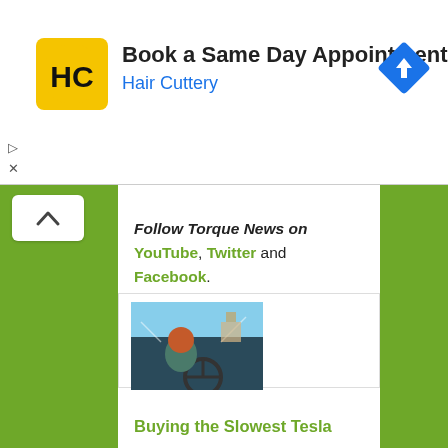[Figure (screenshot): Advertisement banner for Hair Cuttery showing logo (yellow square with HC letters), text 'Book a Same Day Appointment' and 'Hair Cuttery' in blue, with a blue navigation/directions diamond icon on the right. Play and close (X) controls at lower left.]
[Figure (screenshot): Green sidebar areas on left and right of main content, with a white collapse/up-arrow button in upper left sidebar area.]
Follow Torque News on YouTube, Twitter and Facebook.
[Figure (photo): Photo of a person with red/orange hair driving a Tesla, viewed from behind/side. The person is at the steering wheel, road and buildings visible through windshield.]
Buying the Slowest Tesla